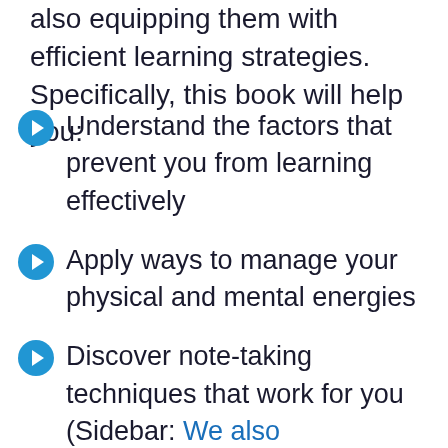also equipping them with efficient learning strategies. Specifically, this book will help you:
Understand the factors that prevent you from learning effectively
Apply ways to manage your physical and mental energies
Discover note-taking techniques that work for you (Sidebar: We also profile 15 note-taking apps that can help you retain information.)